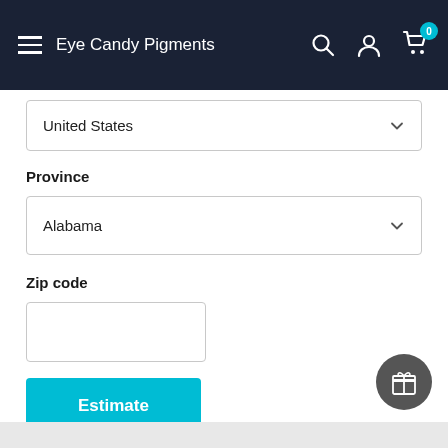Eye Candy Pigments
United States
Province
Alabama
Zip code
Estimate